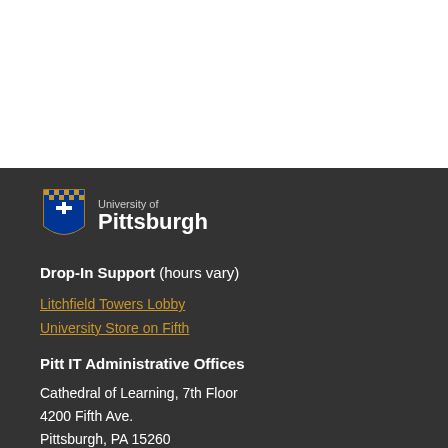[Figure (logo): University of Pittsburgh shield logo with text 'University of Pittsburgh']
Drop-In Support (hours vary)
Litchfield Towers Lobby
University Store on Fifth
Pitt IT Administrative Offices
Cathedral of Learning, 7th Floor
4200 Fifth Ave.
Pittsburgh, PA 15260
Follow @UPittIT